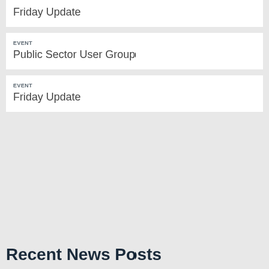Friday Update
EVENT
Public Sector User Group
EVENT
Friday Update
Recent News Posts